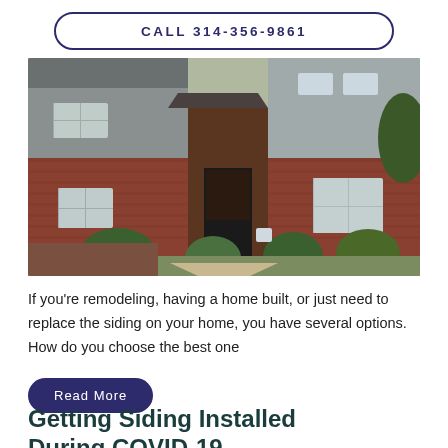CALL 314-356-9861
[Figure (photo): Exterior of a two-story brick and gray siding home with landscaped front yard, shrubs, and a pathway to the front door.]
If you're remodeling, having a home built, or just need to replace the siding on your home, you have several options. How do you choose the best one
Read More
Getting Siding Installed During COVID-19